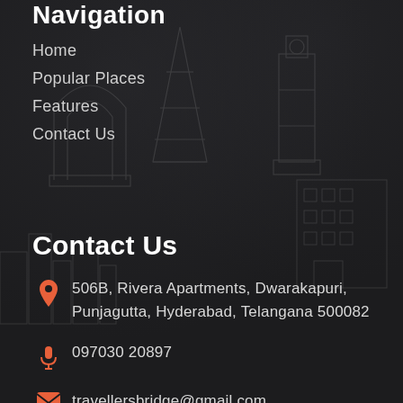Navigation
Home
Popular Places
Features
Contact Us
Contact Us
506B, Rivera Apartments, Dwarakapuri, Punjagutta, Hyderabad, Telangana 500082
097030 20897
travellersbridge@gmail.com